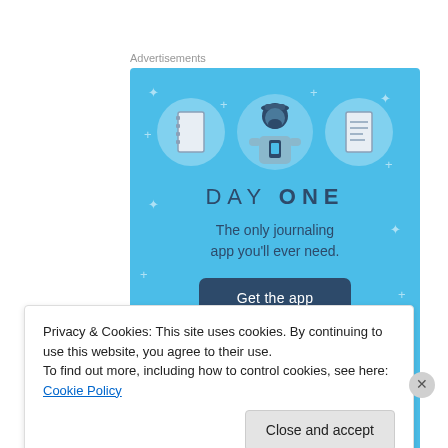Advertisements
[Figure (illustration): Day One journaling app advertisement banner with light blue background. Shows three circular icons (notebook, person with phone, notepad), illustration of a person holding a phone, the text DAY ONE, subtitle 'The only journaling app you'll ever need.' and a dark 'Get the app' button.]
Privacy & Cookies: This site uses cookies. By continuing to use this website, you agree to their use.
To find out more, including how to control cookies, see here: Cookie Policy
Close and accept